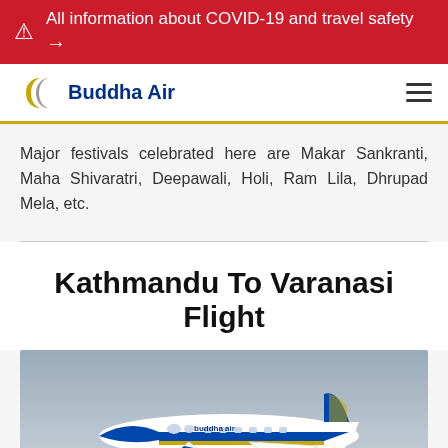All information about COVID-19 and travel safety →
[Figure (logo): Buddha Air logo with golden wing icon and blue text]
Major festivals celebrated here are Makar Sankranti, Maha Shivaratri, Deepawali, Holi, Ram Lila, Dhrupad Mela, etc.
Kathmandu To Varanasi Flight
[Figure (photo): Buddha Air turboprop aircraft on runway, blue and white livery with yellow accents, gray sky background]